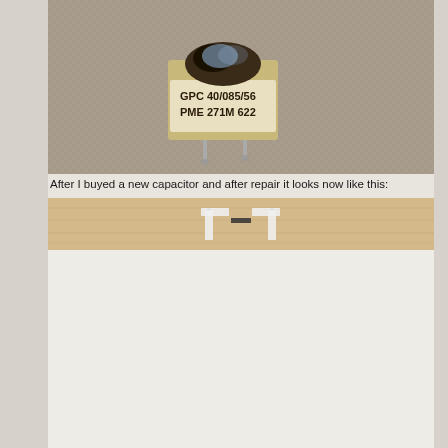[Figure (photo): A burned/damaged capacitor labeled GPC 40/085/56 PME 271M622, photographed on a woven fabric background. The capacitor's top is charred and melted, with metal leads visible at the bottom.]
After I buyed a new capacitor and after repair it looks now like this:
[Figure (photo): Partial view of what appears to be a wooden frame or board with white corner brackets/connectors visible.]